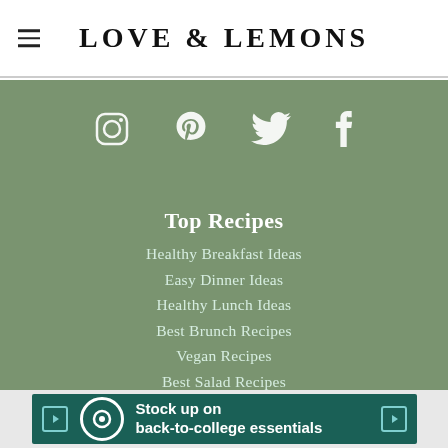LOVE & LEMONS
[Figure (infographic): Social media icons: Instagram, Pinterest, Twitter, Facebook in white on sage green background]
Top Recipes
Healthy Breakfast Ideas
Easy Dinner Ideas
Healthy Lunch Ideas
Best Brunch Recipes
Vegan Recipes
Best Salad Recipes
Best Soup Recipes
Easy Appetizer Recipes
[Figure (infographic): Target advertisement banner: Stock up on back-to-college essentials]